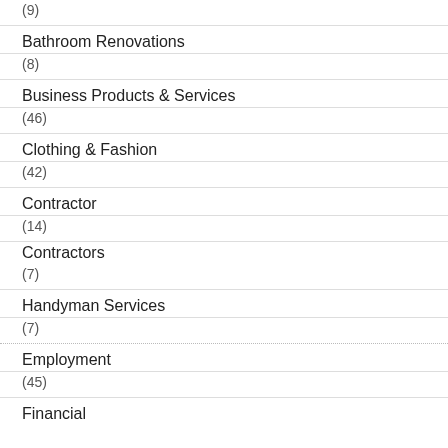(9)
Bathroom Renovations
(8)
Business Products & Services
(46)
Clothing & Fashion
(42)
Contractor
(14)
Contractors
(7)
Handyman Services
(7)
Employment
(45)
Financial